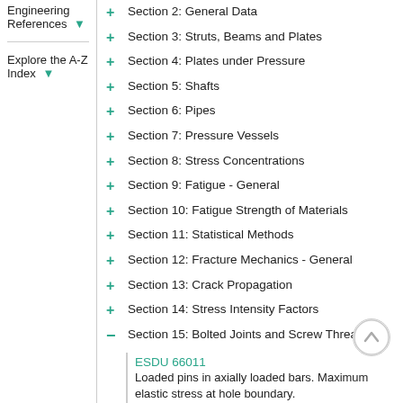Engineering References
Explore the A-Z Index
+ Section 2: General Data
+ Section 3: Struts, Beams and Plates
+ Section 4: Plates under Pressure
+ Section 5: Shafts
+ Section 6: Pipes
+ Section 7: Pressure Vessels
+ Section 8: Stress Concentrations
+ Section 9: Fatigue - General
+ Section 10: Fatigue Strength of Materials
+ Section 11: Statistical Methods
+ Section 12: Fracture Mechanics - General
+ Section 13: Crack Propagation
+ Section 14: Stress Intensity Factors
— Section 15: Bolted Joints and Screw Threads
ESDU 66011 — Loaded pins in axially loaded bars. Maximum elastic stress at hole boundary.
ESDU 67019 — Static strength of screwed fasteners.
ESDU 67020